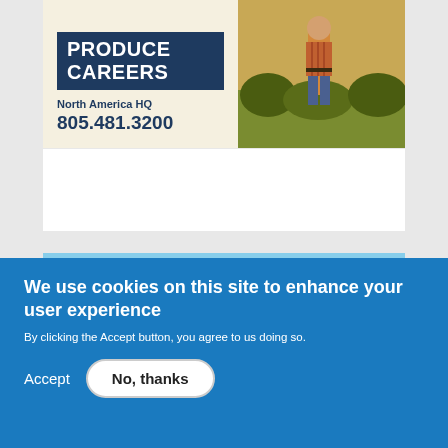[Figure (illustration): Advertisement banner for Produce Careers showing bold text 'PRODUCE CAREERS' on dark navy background, 'North America HQ' text, phone number '805.481.3200', and a photo of a farmer standing in a crop field on the right side.]
[Figure (photo): Two men standing together smiling outdoors in a green agricultural field under a blue sky. One wearing a pink/mauve t-shirt with a cap, the other in a light blue long-sleeve shirt with sunglasses and a cap.]
We use cookies on this site to enhance your user experience
By clicking the Accept button, you agree to us doing so.
Accept
No, thanks